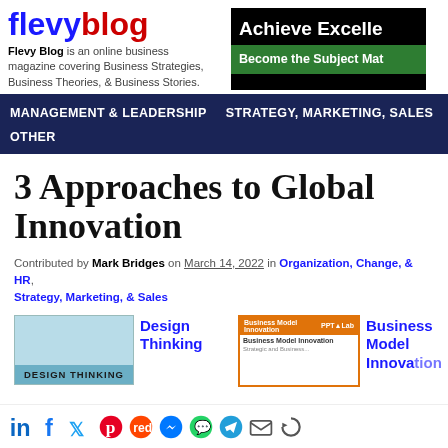flevyblog — Flevy Blog is an online business magazine covering Business Strategies, Business Theories, & Business Stories.
[Figure (screenshot): Advertisement banner: Achieve Excelle[nce] / Become the Subject Mat[ter Expert]]
MANAGEMENT & LEADERSHIP   STRATEGY, MARKETING, SALES   Other
3 Approaches to Global Innovation
Contributed by Mark Bridges on March 14, 2022 in Organization, Change, & HR, Strategy, Marketing, & Sales
[Figure (screenshot): Design Thinking product thumbnail and label]
[Figure (screenshot): Business Model Innovation product thumbnail and label]
[Figure (infographic): Social sharing icons: LinkedIn, Facebook, Twitter, Pinterest, Reddit, Messenger, WhatsApp, Telegram, Email, Share]